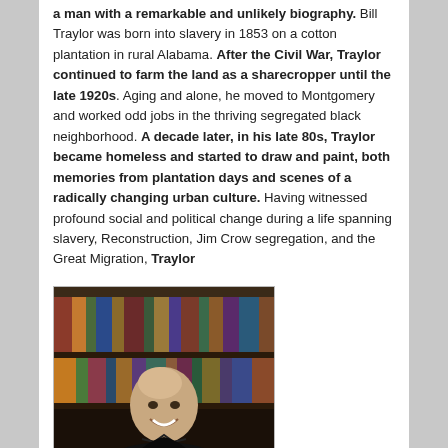a man with a remarkable and unlikely biography. Bill Traylor was born into slavery in 1853 on a cotton plantation in rural Alabama. After the Civil War, Traylor continued to farm the land as a sharecropper until the late 1920s. Aging and alone, he moved to Montgomery and worked odd jobs in the thriving segregated black neighborhood. A decade later, in his late 80s, Traylor became homeless and started to draw and paint, both memories from plantation days and scenes of a radically changing urban culture. Having witnessed profound social and political change during a life spanning slavery, Reconstruction, Jim Crow segregation, and the Great Migration, Traylor
[Figure (photo): Portrait photo of a bald smiling middle-aged man wearing a black shirt, with bookshelves in the background]